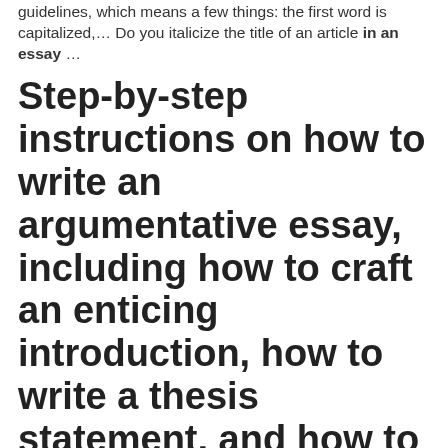guidelines, which means a few things: the first word is capitalized,… Do you italicize the title of an article in an essay …
Step-by-step instructions on how to write an argumentative essay, including how to craft an enticing introduction, how to write a thesis statement, and how to outline your essay. Classical, Rogerian, and Toulmin argument strategies will...
If you are writing an essay do you underline, use quotation